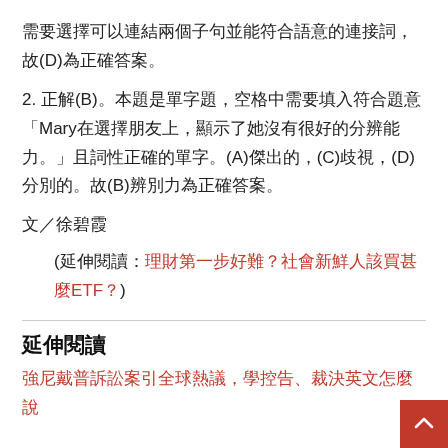需要選擇可以連結兩個子句並能符合語意的連接詞，故(D)為正確答案。
2. 正解(B)。本題是單字題，空格中需要填入符合題意「Mary在選擇朋友上，顯示了她沒有很好的分辨能力。」且詞性正確的單字。(A)傑出的，(C)歧視，(D)分別的。故(B)辨別力為正確答案。
文／徐碧霞
(延伸閱讀：理財第一步好難？社會新鮮人該買甚麼ETF？)
延伸閱讀
強尼戴普訴訟案引全球熱議，學控告、裁決英文怎麼說